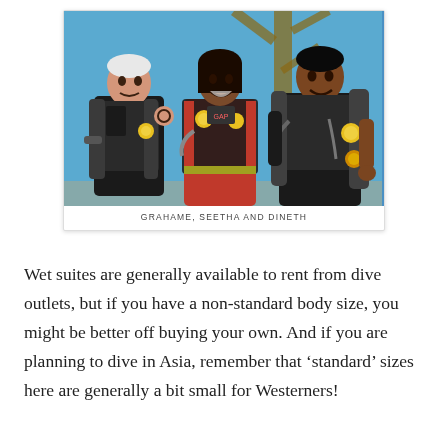[Figure (photo): Three scuba divers in full dive gear standing in front of a blue background with a tree visible. Left: older white-haired man making OK sign, center: woman in red wetsuit smiling, right: young man with tank.]
GRAHAME, SEETHA AND DINETH
Wet suites are generally available to rent from dive outlets, but if you have a non-standard body size, you might be better off buying your own. And if you are planning to dive in Asia, remember that ‘standard’ sizes here are generally a bit small for Westerners!